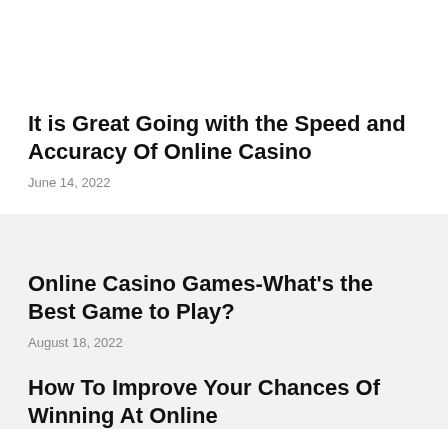It is Great Going with the Speed and Accuracy Of Online Casino
June 14, 2022
Online Casino Games-What’s the Best Game to Play?
August 18, 2022
How To Improve Your Chances Of Winning At Online